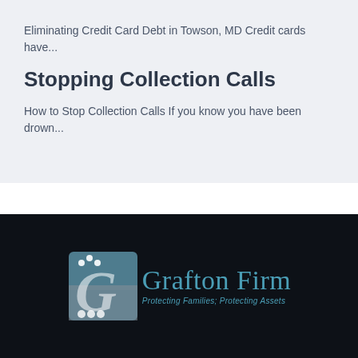Eliminating Credit Card Debt in Towson, MD Credit cards have...
Stopping Collection Calls
How to Stop Collection Calls If you know you have been drown...
[Figure (logo): Grafton Firm logo with stylized G icon and tagline 'Protecting Families; Protecting Assets']